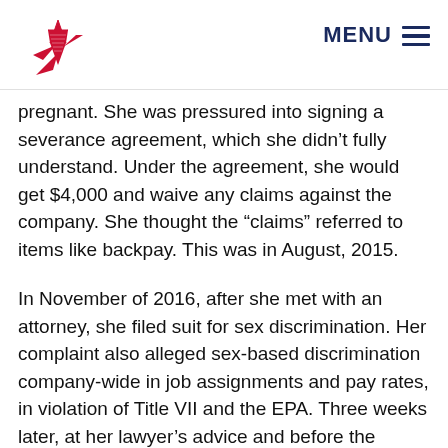MENU
pregnant. She was pressured into signing a severance agreement, which she didn’t fully understand. Under the agreement, she would get $4,000 and waive any claims against the company. She thought the “claims” referred to items like backpay. This was in August, 2015.
In November of 2016, after she met with an attorney, she filed suit for sex discrimination. Her complaint also alleged sex-based discrimination company-wide in job assignments and pay rates, in violation of Title VII and the EPA. Three weeks later, at her lawyer’s advice and before the company’s response was due, she wrote a check to the company returning the $4000 and rescinding